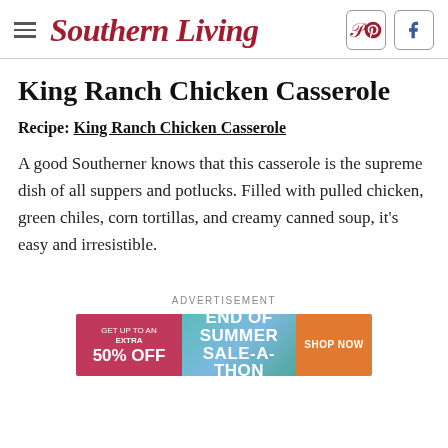Southern Living
King Ranch Chicken Casserole
Recipe: King Ranch Chicken Casserole
A good Southerner knows that this casserole is the supreme dish of all suppers and potlucks. Filled with pulled chicken, green chiles, corn tortillas, and creamy canned soup, it's easy and irresistible.
ADVERTISEMENT
[Figure (other): Advertisement banner: GET UP TO AN EXTRA 50% OFF END OF SUMMER SALE-A-THON SHOP NOW]